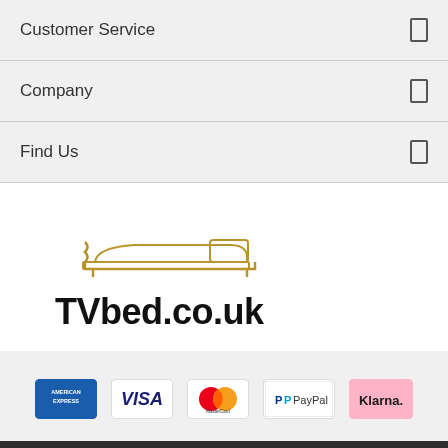Customer Service
Company
Find Us
[Figure (logo): TVbed.co.uk logo with gold bed illustration and bold text]
[Figure (infographic): Payment method logos: American Express, Visa, MasterCard, PayPal, Klarna]
Copyright 2022 - TV Bed | VAT No: 890 0800 35 | Company Registration Number: 5820521 |